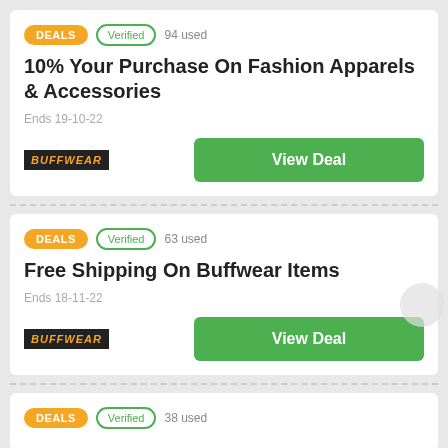DEALS | Verified | 94 used
10% Your Purchase On Fashion Apparels & Accessories
Ends 19-10-22
BUFFWEAR | View Deal
DEALS | Verified | 63 used
Free Shipping On Buffwear Items
Ends 18-11-22
BUFFWEAR | View Deal
DEALS | Verified | 38 used